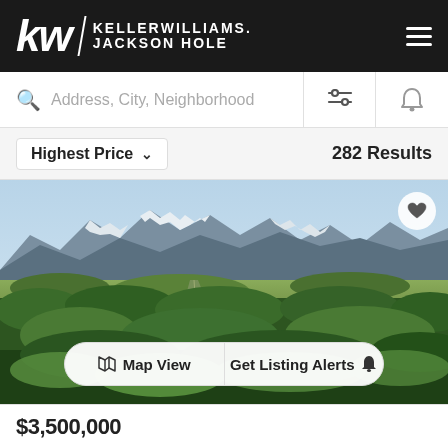[Figure (logo): Keller Williams Jackson Hole logo — white text on black background with 'kw' in large italic font and 'KELLER WILLIAMS. JACKSON HOLE' in block capitals]
Address, City, Neighborhood
Highest Price  282 Results
[Figure (photo): Aerial landscape photo of Jackson Hole valley with snow-capped mountain range in background, green forested land in foreground, open meadows, and rural properties visible]
Map View  Get Listing Alerts
$3,500,000